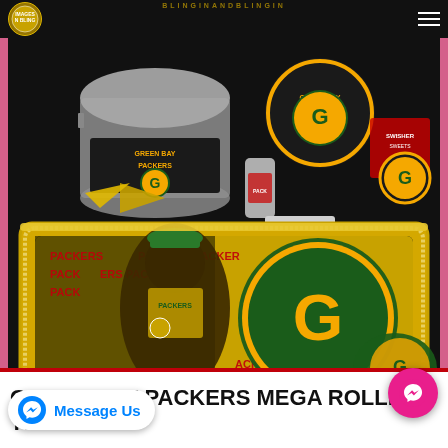BLINGINANDBLINGIN
[Figure (photo): Green Bay Packers mega rolling tray set product photo showing a large rectangular silver tray with rhinestone border featuring 'BOOGIE' text and Packers branding imagery, alongside various Packers-themed accessories including glass jars, a lighter, and containers with Green Bay Packers logos on a dark background.]
On Sale
Message Us
GREEN BAY PACKERS MEGA ROLLING TRAY SET